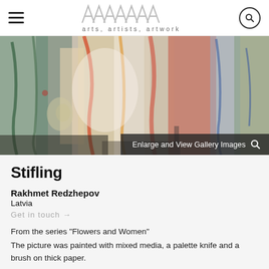arts, artists, artwork — AAAAAAA logo header with hamburger menu and search icon
[Figure (photo): Abstract colorful painting showing mixed media artwork with reds, greens, blues, yellows on a textured background. An overlay button reads 'Enlarge and View Gallery Images' with a search icon.]
Stifling
Rakhmet Redzhepov
Latvia
Get in touch →
From the series "Flowers and Women"
The picture was painted with mixed media, a palette knife and a brush on thick paper.